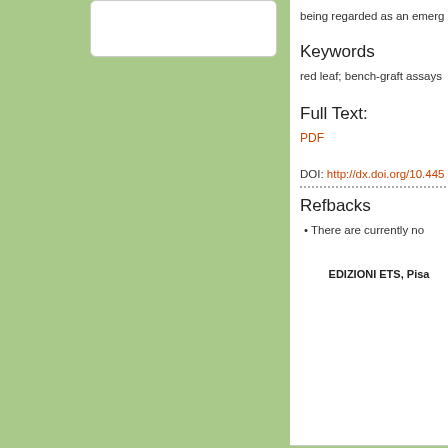[Figure (other): White rounded rectangle box on green background, partially visible at top left of page]
being regarded as an emerg
Keywords
red leaf; bench-graft assays
Full Text:
PDF
DOI: http://dx.doi.org/10.445
Refbacks
There are currently no
EDIZIONI ETS, Pisa